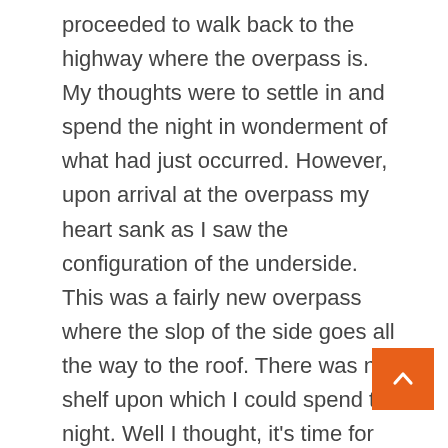proceeded to walk back to the highway where the overpass is. My thoughts were to settle in and spend the night in wonderment of what had just occurred. However, upon arrival at the overpass my heart sank as I saw the configuration of the underside. This was a fairly new overpass where the slop of the side goes all the way to the roof. There was no shelf upon which I could spend the night. Well I thought, it's time for plan B. Back to the small building in the middle of the field and to the large cement sewer pipes I had seen earlier. I'd never thought of using something like this for shelter, but I feared another rain storm during the night and wanted some sort of roof over my head. So I tried one on for size.

Climbing inside a cement pipe that is barely wider then your shoulders is not an easy task. Once inside, the